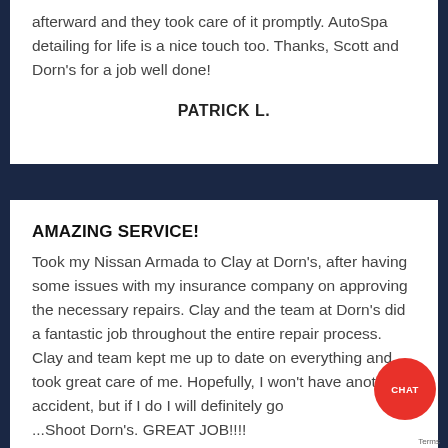afterward and they took care of it promptly. AutoSpa detailing for life is a nice touch too. Thanks, Scott and Dorn's for a job well done!
PATRICK L.
AMAZING SERVICE!
Took my Nissan Armada to Clay at Dorn's, after having some issues with my insurance company on approving the necessary repairs. Clay and the team at Dorn's did a fantastic job throughout the entire repair process. Clay and team kept me up to date on everything and took great care of me. Hopefully, I won't have another accident, but if I do I will definitely go ... Shoot Dorn's. GREAT JOB!!!!